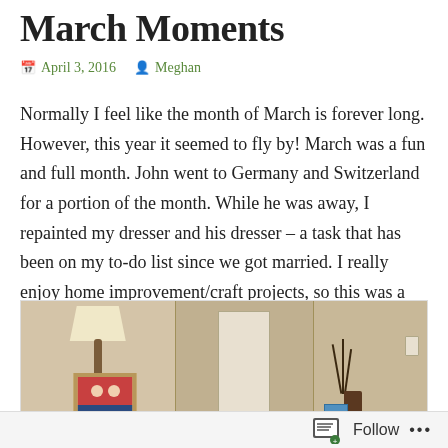March Moments
April 3, 2016   Meghan
Normally I feel like the month of March is forever long. However, this year it seemed to fly by! March was a fun and full month. John went to Germany and Switzerland for a portion of the month. While he was away, I repainted my dresser and his dresser – a task that has been on my to-do list since we got married. I really enjoy home improvement/craft projects, so this was a fun task.
[Figure (photo): A bedroom dresser scene showing a lamp, a framed photo of a couple, a large mirror, decorative branches in a vase, and a small blue book]
Follow ...